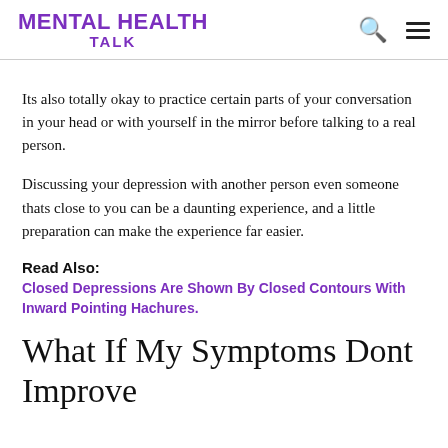MENTAL HEALTH TALK
Its also totally okay to practice certain parts of your conversation in your head or with yourself in the mirror before talking to a real person.
Discussing your depression with another person even someone thats close to you can be a daunting experience, and a little preparation can make the experience far easier.
Read Also:
Closed Depressions Are Shown By Closed Contours With Inward Pointing Hachures.
What If My Symptoms Dont Improve